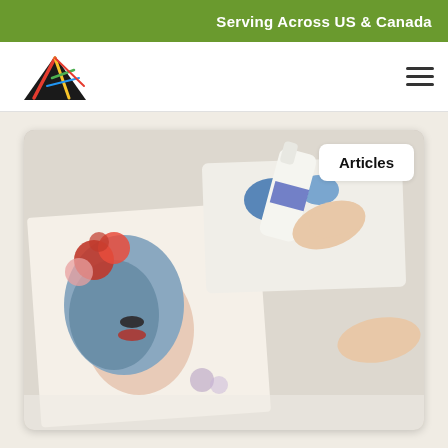Serving Across US & Canada
[Figure (logo): Colorful abstract star/lightning bolt logo in red, yellow, green on black triangle]
[Figure (photo): Person holding a white glue/medium bottle over a watercolor painting of a woman with blue/gray hair and red flowers, applying a coating to the artwork]
Articles